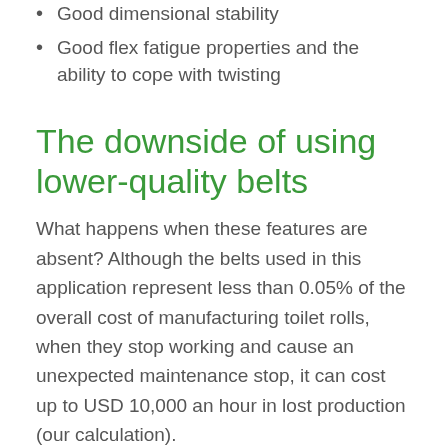Good dimensional stability
Good flex fatigue properties and the ability to cope with twisting
The downside of using lower-quality belts
What happens when these features are absent? Although the belts used in this application represent less than 0.05% of the overall cost of manufacturing toilet rolls, when they stop working and cause an unexpected maintenance stop, it can cost up to USD 10,000 an hour in lost production (our calculation).
A reference case
Here's an example. We were recently approached by a customer to find a replacement